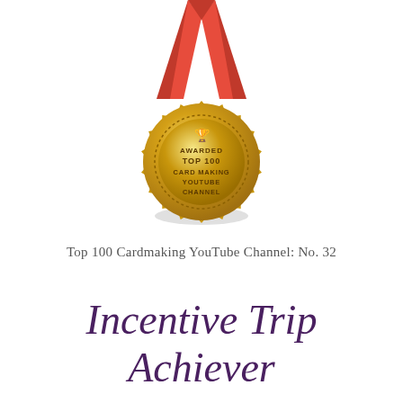[Figure (illustration): Gold award medal with red ribbon. Medal has a sunburst/gear edge and reads: AWARDED TOP 100 CARD MAKING YOUTUBE CHANNEL with a trophy icon at top center.]
Top 100 Cardmaking YouTube Channel: No. 32
Incentive Trip Achiever